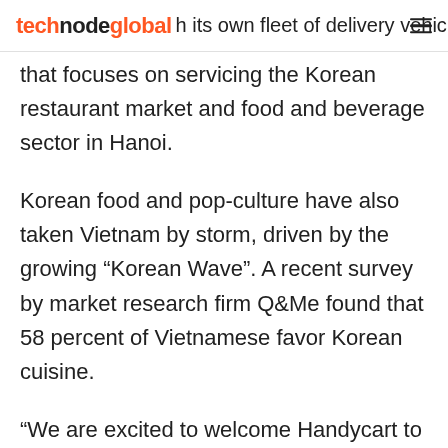technode global — its own fleet of delivery vehicles
its own fleet of delivery vehicles that focuses on servicing the Korean restaurant market and food and beverage sector in Hanoi.
Korean food and pop-culture have also taken Vietnam by storm, driven by the growing “Korean Wave”. A recent survey by market research firm Q&Me found that 58 percent of Vietnamese favor Korean cuisine.
“We are excited to welcome Handycart to our larger SoPa ecosystem which will enable it to harness our integrated marketing and technology proposition while also strengthening our collective senior management resources. We endeavour to